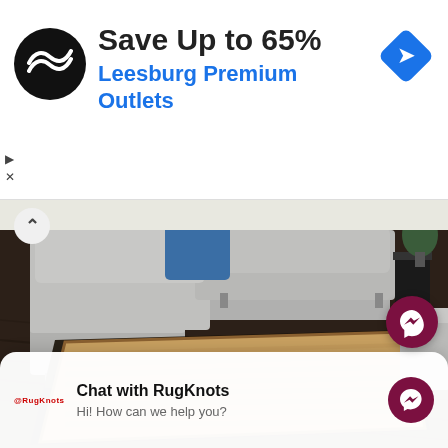[Figure (screenshot): Advertisement banner: black circle logo with double arrow, text 'Save Up to 65%' and 'Leesburg Premium Outlets' in blue, blue diamond navigation icon on the right]
[Figure (photo): Interior room scene showing a beige/tan textured rug on dark hardwood floor, modern grey sectional sofa with blue accent pillow, and a chat widget overlay at the bottom reading 'Chat with RugKnots - Hi! How can we help you?' with a dark red Messenger icon]